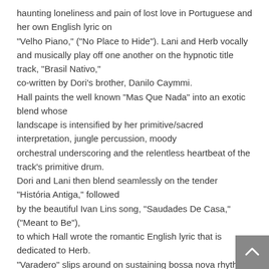haunting loneliness and pain of lost love in Portuguese and her own English lyric on "Velho Piano," ("No Place to Hide"). Lani and Herb vocally and musically play off one another on the hypnotic title track, "Brasil Nativo," co-written by Dori's brother, Danilo Caymmi. Hall paints the well known "Mas Que Nada" into an exotic blend whose landscape is intensified by her primitive/sacred interpretation, jungle percussion, moody orchestral underscoring and the relentless heartbeat of the track's primitive drum. Dori and Lani then blend seamlessly on the tender "História Antiga," followed by the beautiful Ivan Lins song, "Saudades De Casa," ("Meant to Be"), to which Hall wrote the romantic English lyric that is dedicated to Herb. "Varadero" slips around on sustaining bossa nova rhythms as Alpert's smokey flugel horn weaves in and out of Lani's sensuous vocal, sung in Portuguese and her